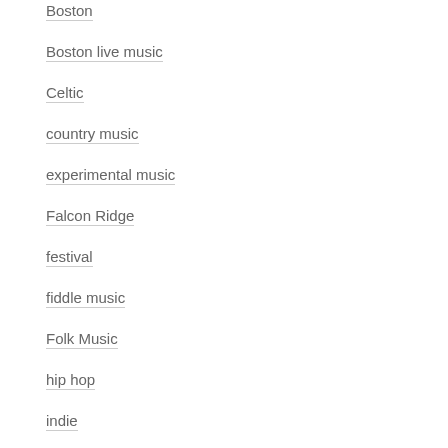Boston
Boston live music
Celtic
country music
experimental music
Falcon Ridge
festival
fiddle music
Folk Music
hip hop
indie
interviews
jazz
live music